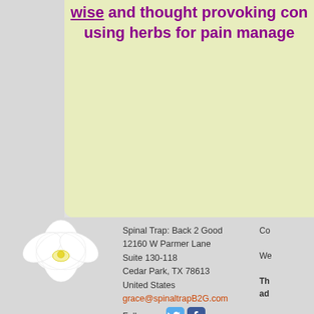wise and thought provoking com... using herbs for pain manage...
[Figure (photo): White orchid flower on gray background, bottom-left corner]
Spinal Trap: Back 2 Good
12160 W Parmer Lane
Suite 130-118
Cedar Park, TX 78613
United States
grace@spinaltrapB2G.com
Follow us:
Co...
We...
This ad...
The... and... cur...